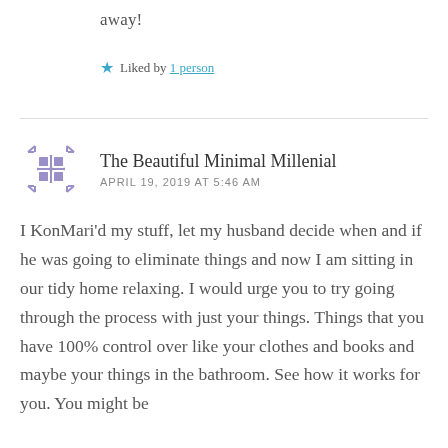away!
★ Liked by 1 person
The Beautiful Minimal Millenial
APRIL 19, 2019 AT 5:46 AM
I KonMari'd my stuff, let my husband decide when and if he was going to eliminate things and now I am sitting in our tidy home relaxing. I would urge you to try going through the process with just your things. Things that you have 100% control over like your clothes and books and maybe your things in the bathroom. See how it works for you. You might be